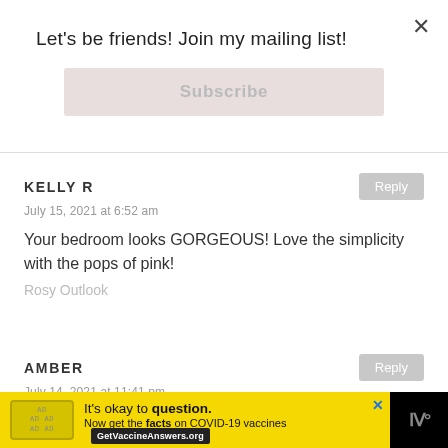Let's be friends! Join my mailing list!
Subscribe
KELLY R
July 15, 2021 at 6:52 am
Your bedroom looks GORGEOUS! Love the simplicity with the pops of pink!
Rosy Outlook
AMBER
July 14, 2021 at 11:41 pm
Wow, what a gorgeous bedroom! I love all of the
It's okay to question. Now get the facts on COVID-19 vaccines GetVaccineAnswers.org